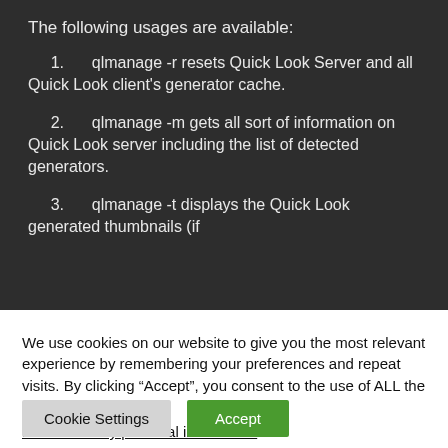The following usages are available:
1.      qlmanage -r resets Quick Look Server and all Quick Look client's generator cache.
2.      qlmanage -m gets all sort of information on Quick Look server including the list of detected generators.
3.      qlmanage -t displays the Quick Look generated thumbnails (if
We use cookies on our website to give you the most relevant experience by remembering your preferences and repeat visits. By clicking “Accept”, you consent to the use of ALL the cookies.
Do not sell my personal information.